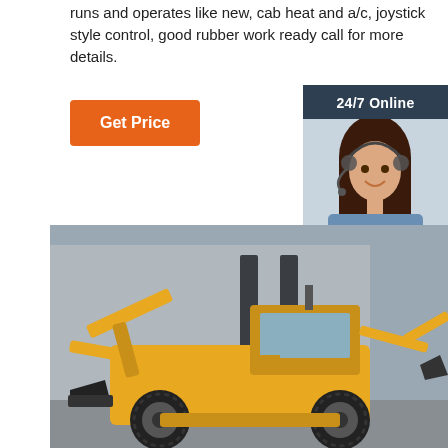runs and operates like new, cab heat and a/c, joystick style control, good rubber work ready call for more details.
[Figure (other): Orange 'Get Price' button]
[Figure (other): 24/7 Online customer service widget with photo of smiling woman with headset, 'Click here for free chat!' text and orange QUOTATION button]
[Figure (photo): Yellow backhoe loader / construction equipment parked in front of a grey industrial building]